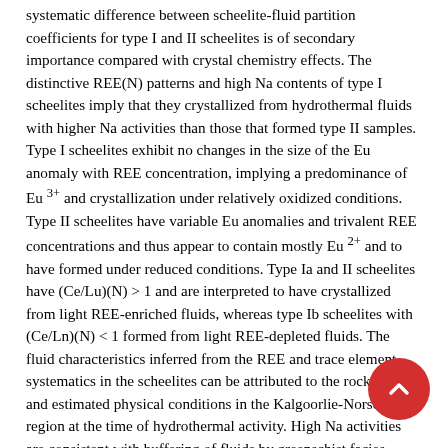systematic difference between scheelite-fluid partition coefficients for type I and II scheelites is of secondary importance compared with crystal chemistry effects. The distinctive REE(N) patterns and high Na contents of type I scheelites imply that they crystallized from hydrothermal fluids with higher Na activities than those that formed type II samples. Type I scheelites exhibit no changes in the size of the Eu anomaly with REE concentration, implying a predominance of Eu 3+ and crystallization under relatively oxidized conditions. Type II scheelites have variable Eu anomalies and trivalent REE concentrations and thus appear to contain mostly Eu 2+ and to have formed under reduced conditions. Type Ia and II scheelites have (Ce/Lu)(N) > 1 and are interpreted to have crystallized from light REE-enriched fluids, whereas type Ib scheelites with (Ce/Ln)(N) < 1 formed from light REE-depleted fluids. The fluid characteristics inferred from the REE and trace element systematics in the scheelites can be attributed to the rock types and estimated physical conditions in the Kalgoorlie-Norseman region at the time of hydrothermal activity. High Na activities are consistent with buffering of fluids by greenschist facies rocks, whereas low fluid Na activities are a product of fluid reactions at higher metamorphic grades. Oxidized fluids are consistent with near-surface derivation, whereas reduced fluids